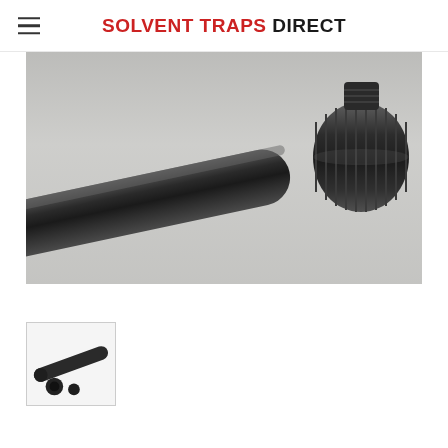SOLVENT TRAPS DIRECT
[Figure (photo): Close-up product photo of a black anodized aluminum tube/barrel with threaded end on the left, and a black knurled threaded end cap on the right, both on a light grey/white surface.]
[Figure (photo): Thumbnail image of solvent trap components: a black tube and two small black end pieces on a white background.]